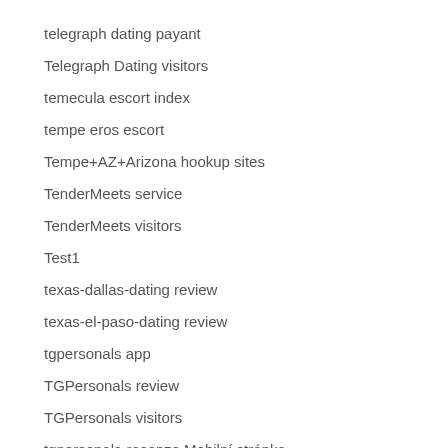telegraph dating payant
Telegraph Dating visitors
temecula escort index
tempe eros escort
Tempe+AZ+Arizona hookup sites
TenderMeets service
TenderMeets visitors
Test1
texas-dallas-dating review
texas-el-paso-dating review
tgpersonals app
TGPersonals review
TGPersonals visitors
tgpersonals-recenze Mobilní stránka
theisunid visitors